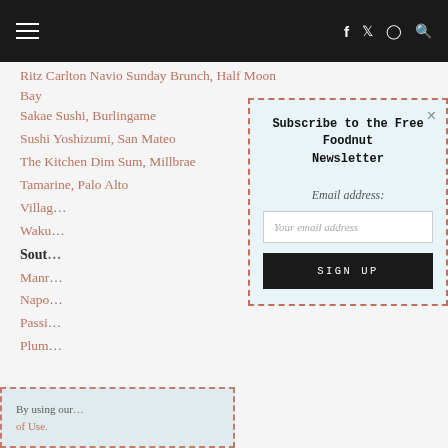≡  f  🐦  📷  🔍
Ritz Carlton Navio Sunday Brunch, Half Moon Bay
Sakae Sushi, Burlingame
Sushi Yoshizumi, San Mateo
The Kitchen Dim Sum, Millbrae
Tamarine, Palo Alto
Villag…
Waku…
Sout…
Manr…
Napo…
Passi…
Plum…
By using our… of Use.
[Figure (screenshot): Newsletter subscription modal with title 'Subscribe to the Free Foodnut Newsletter', email address label, email input field, and SIGN UP button]
Subscribe to the Free Foodnut Newsletter
Email address:
Your email address
SIGN UP